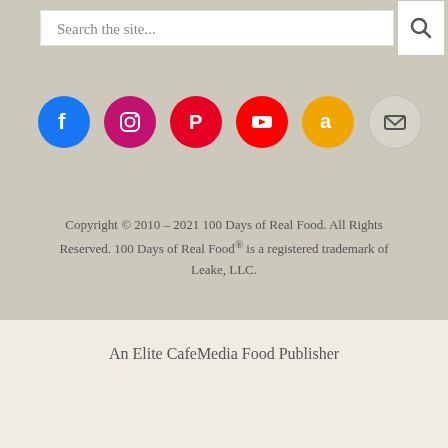[Figure (screenshot): Search bar with text 'Search the site...' and a search button with magnifying glass icon]
[Figure (infographic): Row of 6 social media icons: Facebook (blue), Instagram (pink/magenta), Pinterest (red), YouTube (red), Amazon (orange), Email (gray)]
Copyright © 2010 – 2021 100 Days of Real Food. All Rights Reserved. 100 Days of Real Food® is a registered trademark of Leake, LLC.
An Elite CafeMedia Food Publisher